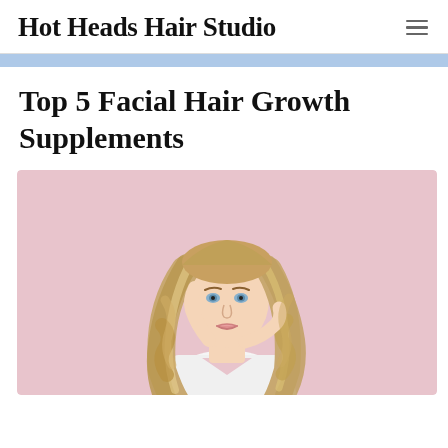Hot Heads Hair Studio
Top 5 Facial Hair Growth Supplements
[Figure (photo): Young woman with long wavy blonde highlighted hair against a pink background, wearing a white top, touching her hair with both hands]